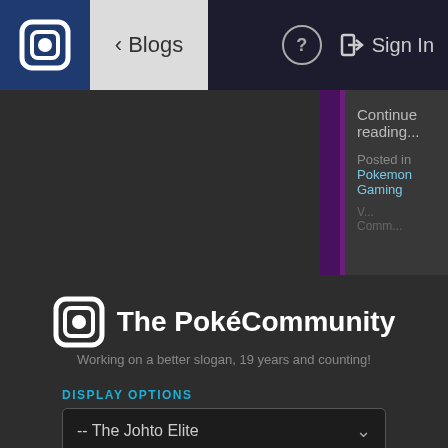[Figure (screenshot): Mobile website navigation bar for The PokéCommunity with logo, Blogs back button, help icon, and Sign In link]
Continue reading...
Posted in Pokemon Gaming
[Figure (logo): The PokéCommunity logo with square icon and text]
Working on a better slogan, 19 years and counting!
DISPLAY OPTIONS
-- The Johto Elite
[Figure (other): Two circular color swatches: cyan/blue and dark red]
[Figure (other): Staff icon button with tie symbol]
[Figure (other): Rules icon button with document symbol]
STAFF   RULES